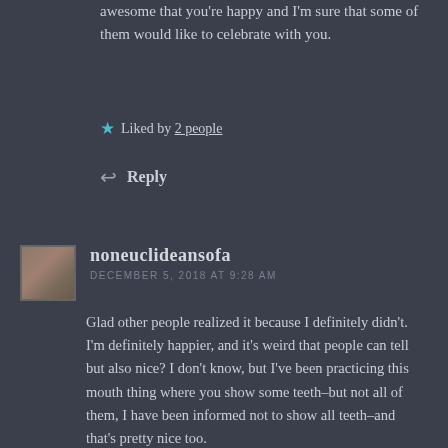awesome that you're happy and I'm sure that some of them would like to celebrate with you.
Liked by 2 people
Reply
noneuclideansofa
DECEMBER 5, 2018 AT 9:28 AM
Glad other people realized it because I definitely didn't. I'm definitely happier, and it's weird that people can tell but also nice? I don't know, but I've been practicing this mouth thing where you show some teeth–but not all of them, I have been informed not to show all teeth–and that's pretty nice too.
So far things are going well, and the people I still have are the people I'd have wanted anyway.